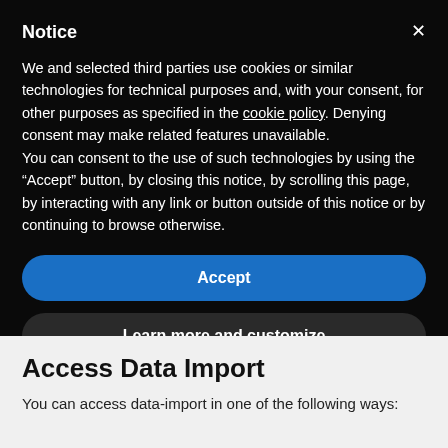Notice
We and selected third parties use cookies or similar technologies for technical purposes and, with your consent, for other purposes as specified in the cookie policy. Denying consent may make related features unavailable.
You can consent to the use of such technologies by using the “Accept” button, by closing this notice, by scrolling this page, by interacting with any link or button outside of this notice or by continuing to browse otherwise.
Accept
Learn more and customize
Access Data Import
You can access data-import in one of the following ways: